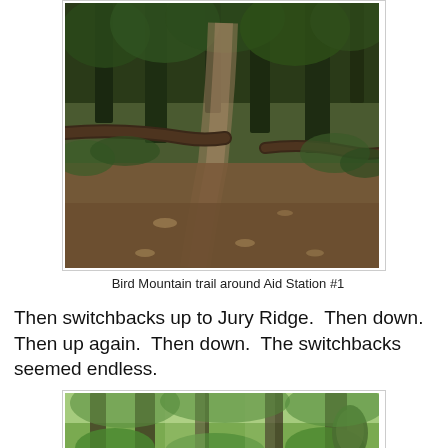[Figure (photo): Forest trail photo showing a dirt path through tall trees with fallen logs on the sides, lush green undergrowth, brown leaf-covered ground — Bird Mountain trail around Aid Station #1]
Bird Mountain trail around Aid Station #1
Then switchbacks up to Jury Ridge.  Then down.  Then up again.  Then down.  The switchbacks seemed endless.
[Figure (photo): Forest trail photo showing a lush green forest with tall trees, dense green foliage and undergrowth, soft misty light filtering through the canopy]